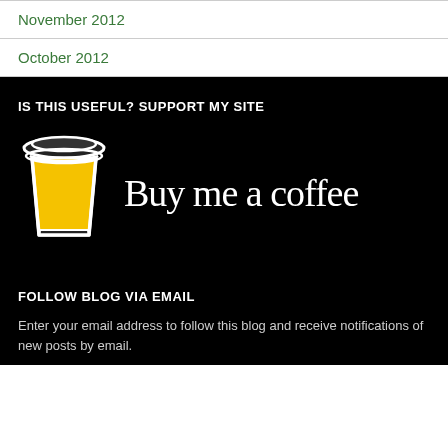November 2012
October 2012
IS THIS USEFUL? SUPPORT MY SITE
[Figure (illustration): Buy me a coffee banner with coffee cup icon and cursive text 'Buy me a coffee' on black background]
FOLLOW BLOG VIA EMAIL
Enter your email address to follow this blog and receive notifications of new posts by email.